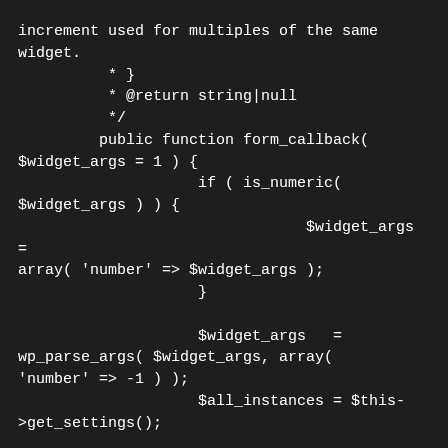increment used for multiples of the same widget.
         * }
         * @return string|null
         */
        public function form_callback(
$widget_args = 1 ) {
                    if ( is_numeric(
$widget_args ) ) {
                                $widget_args =
array( 'number' => $widget_args );
                    }

                    $widget_args   =
wp_parse_args( $widget_args, array(
'number' => -1 ) );
                    $all_instances = $this-
>get_settings();

                    if ( -1 ==
$widget_args['number'] ) {
                    // We echo out a